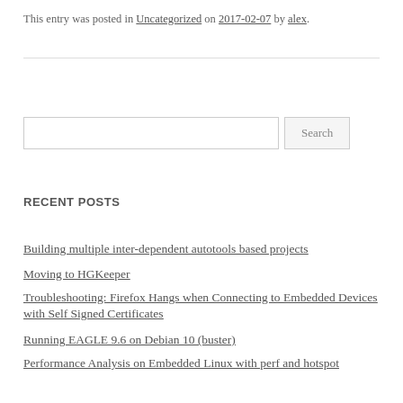This entry was posted in Uncategorized on 2017-02-07 by alex.
RECENT POSTS
Building multiple inter-dependent autotools based projects
Moving to HGKeeper
Troubleshooting: Firefox Hangs when Connecting to Embedded Devices with Self Signed Certificates
Running EAGLE 9.6 on Debian 10 (buster)
Performance Analysis on Embedded Linux with perf and hotspot